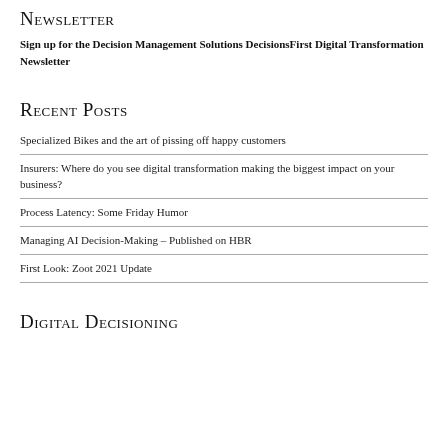Newsletter
Sign up for the Decision Management Solutions DecisionsFirst Digital Transformation Newsletter
Recent Posts
Specialized Bikes and the art of pissing off happy customers
Insurers: Where do you see digital transformation making the biggest impact on your business?
Process Latency: Some Friday Humor
Managing AI Decision-Making – Published on HBR
First Look: Zoot 2021 Update
Digital Decisioning